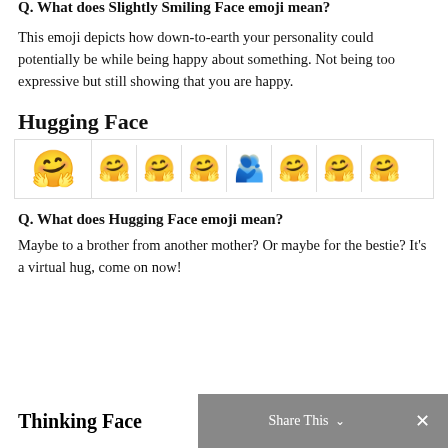Q. What does Slightly Smiling Face emoji mean?
This emoji depicts how down-to-earth your personality could potentially be while being happy about something. Not being too expressive but still showing that you are happy.
Hugging Face
[Figure (illustration): Hugging Face emoji shown large on the left, followed by 7 variant versions of hugging face emojis in a row separated by dividers]
Q. What does Hugging Face emoji mean?
Maybe to a brother from another mother? Or maybe for the bestie? It's a virtual hug, come on now!
Thinking Face
Share This  ×